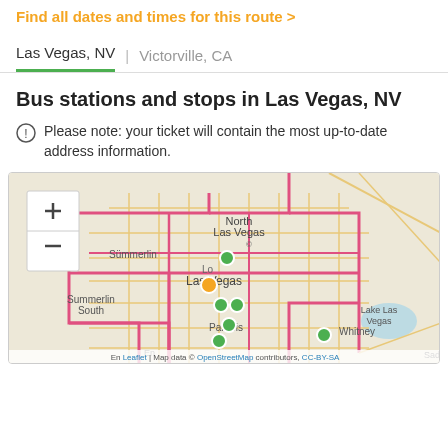Find all dates and times for this route >
Las Vegas, NV | Victorville, CA
Bus stations and stops in Las Vegas, NV
Please note: your ticket will contain the most up-to-date address information.
[Figure (map): Interactive map showing Las Vegas, NV area with bus stop markers (green circles) and route lines (pink/red). Shows neighborhoods: North Las Vegas, Summerlin, Summerlin South, Las Vegas, Paradise, Whitney, Lake Las Vegas, Sado. Map data from OpenStreetMap. Leaflet map with zoom controls (+/-).]